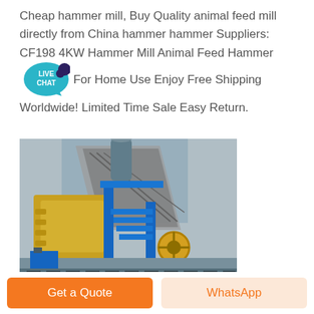Cheap hammer mill, Buy Quality animal feed mill directly from China hammer hammer Suppliers: CF198 4KW Hammer Mill Animal Feed Hammer For Home Use Enjoy Free Shipping Worldwide! Limited Time Sale Easy Return.
[Figure (photo): Industrial hammer mill / crushing machine with yellow body and blue steel frame structure, conveyor belt visible in background, outdoor industrial setting.]
Get a Quote
WhatsApp